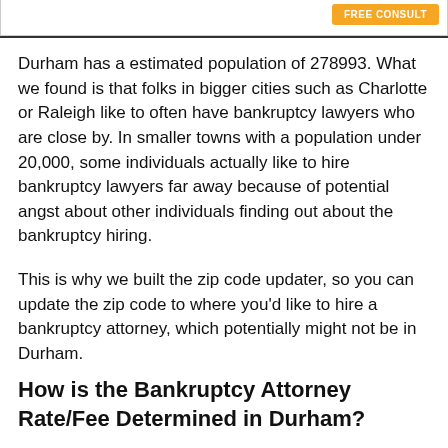Durham has a estimated population of 278993. What we found is that folks in bigger cities such as Charlotte or Raleigh like to often have bankruptcy lawyers who are close by. In smaller towns with a population under 20,000, some individuals actually like to hire bankruptcy lawyers far away because of potential angst about other individuals finding out about the bankruptcy hiring.
This is why we built the zip code updater, so you can update the zip code to where you'd like to hire a bankruptcy attorney, which potentially might not be in Durham.
How is the Bankruptcy Attorney Rate/Fee Determined in Durham?